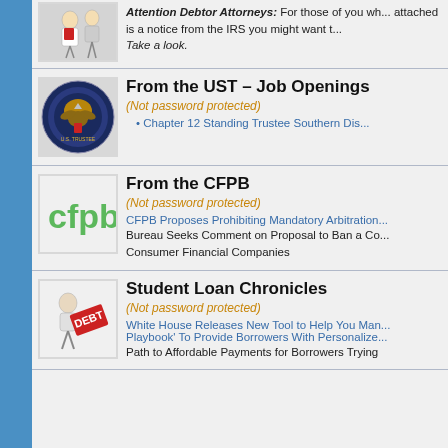Attention Debtor Attorneys: For those of you wh... attached is a notice from the IRS you might want t... Take a look.
From the UST – Job Openings
(Not password protected)
Chapter 12 Standing Trustee Southern Dis...
From the CFPB
(Not password protected)
CFPB Proposes Prohibiting Mandatory Arbitration... Bureau Seeks Comment on Proposal to Ban a Co... Consumer Financial Companies
Student Loan Chronicles
(Not password protected)
White House Releases New Tool to Help You Man... Playbook' To Provide Borrowers With Personalize... Path to Affordable Payments for Borrowers Trying